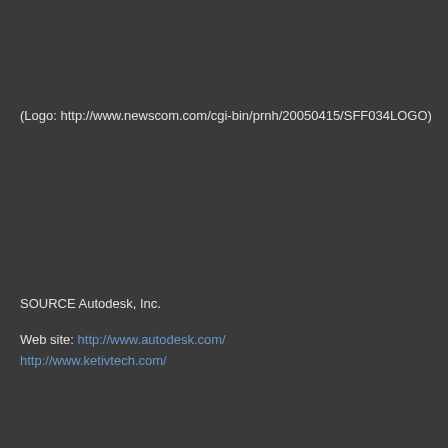(Logo: http://www.newscom.com/cgi-bin/prnh/20050415/SFF034LOGO)
SOURCE Autodesk, Inc.
Web site: http://www.autodesk.com/
http://www.ketivtech.com/